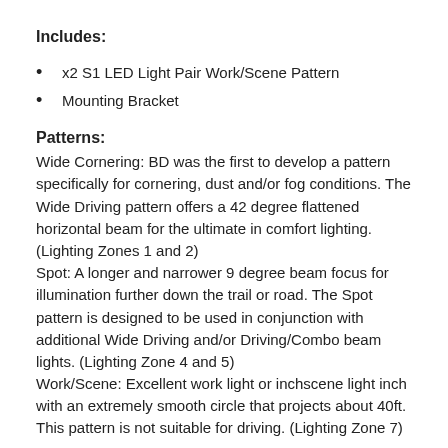Includes:
x2 S1 LED Light Pair Work/Scene Pattern
Mounting Bracket
Patterns:
Wide Cornering: BD was the first to develop a pattern specifically for cornering, dust and/or fog conditions. The Wide Driving pattern offers a 42 degree flattened horizontal beam for the ultimate in comfort lighting. (Lighting Zones 1 and 2) Spot: A longer and narrower 9 degree beam focus for illumination further down the trail or road. The Spot pattern is designed to be used in conjunction with additional Wide Driving and/or Driving/Combo beam lights. (Lighting Zone 4 and 5) Work/Scene: Excellent work light or inchscene light inch with an extremely smooth circle that projects about 40ft. This pattern is not suitable for driving. (Lighting Zone 7)